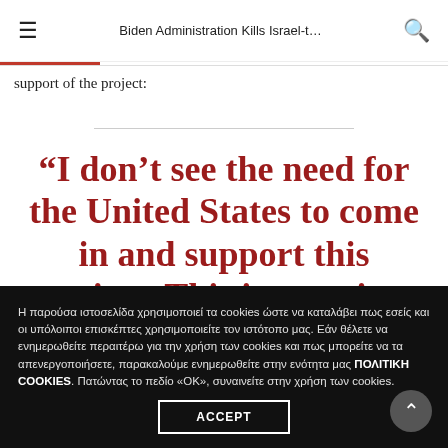Biden Administration Kills Israel-t…
support of the project:
“I don’t see the need for the United States to come in and support this project. This is a project that probably should not
Η παρούσα ιστοσελίδα χρησιμοποιεί τα cookies ώστε να καταλάβει πως εσείς και οι υπόλοιποι επισκέπτες χρησιμοποιείτε τον ιστότοπο μας. Εάν θέλετε να ενημερωθείτε περαιτέρω για την χρήση των cookies και πως μπορείτε να τα απενεργοποιήσετε, παρακαλούμε ενημερωθείτε στην ενότητα μας ΠΟΛΙΤΙΚΗ COOKIES. Πατώντας το πεδίο «ΟΚ», συναινείτε στην χρήση των cookies.